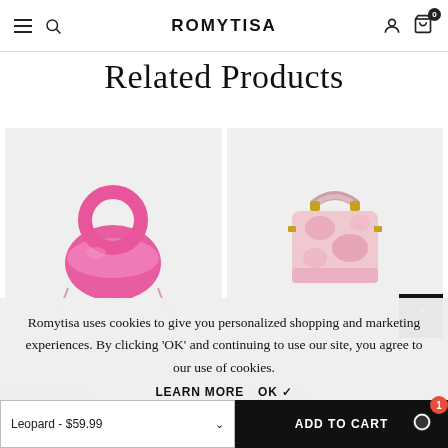ROMYTISA
Related Products
[Figure (photo): Pink mini round-handle handbag on light gray background]
[Figure (photo): Pink tie-dye mini handbag with braided handle on light gray background]
Romytisa uses cookies to give you personalized shopping and marketing experiences. By clicking ‘OK’ and continuing to use our site, you agree to our use of cookies.
LEARN MORE   OK ✓
Women’s Mini Ro...   Women’s Dye Tw...
Leopard - $59.99   ADD TO CART